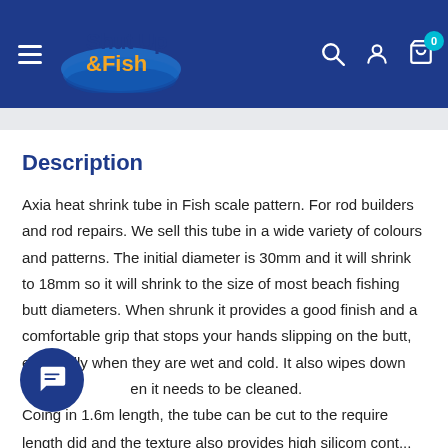Shut Up & Fish — website header with logo, hamburger menu, search, account, and cart icons
Description
Axia heat shrink tube in Fish scale pattern. For rod builders and rod repairs. We sell this tube in a wide variety of colours and patterns. The initial diameter is 30mm and it will shrink to 18mm so it will shrink to the size of most beach fishing butt diameters. When shrunk it provides a good finish and a comfortable grip that stops your hands slipping on the butt, especially when they are wet and cold. It also wipes down when it needs to be cleaned.

Coming in 1.6m length, the tube can be cut to the require length did and the texture also provides high silicone content...